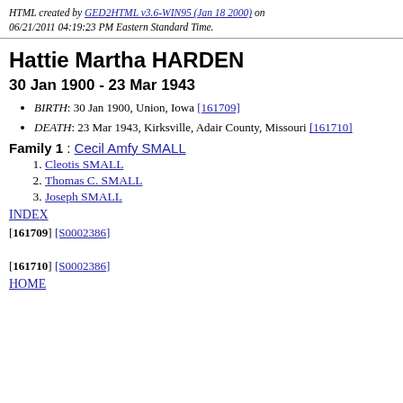HTML created by GED2HTML v3.6-WIN95 (Jan 18 2000) on 06/21/2011 04:19:23 PM Eastern Standard Time.
Hattie Martha HARDEN
30 Jan 1900 - 23 Mar 1943
BIRTH: 30 Jan 1900, Union, Iowa [161709]
DEATH: 23 Mar 1943, Kirksville, Adair County, Missouri [161710]
Family 1 : Cecil Amfy SMALL
Cleotis SMALL
Thomas C. SMALL
Joseph SMALL
INDEX
[161709] [S0002386]
[161710] [S0002386]
HOME